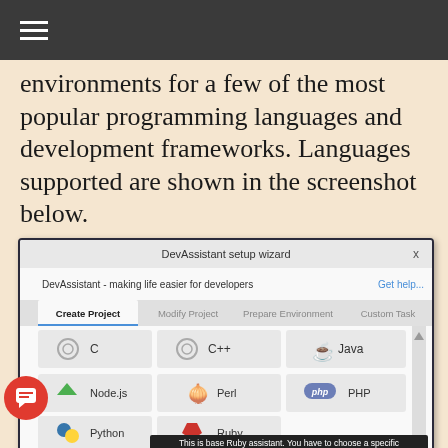≡
environments for a few of the most popular programming languages and development frameworks. Languages supported are shown in the screenshot below.
[Figure (screenshot): DevAssistant setup wizard screenshot showing Create Project tab with language options: C, C++, Java, Node.js, Perl, PHP, Python, Ruby. A tooltip reads: This is base Ruby assistant. You have to choose a specific]